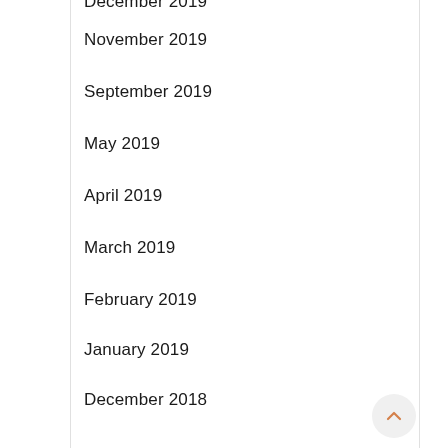December 2019
November 2019
September 2019
May 2019
April 2019
March 2019
February 2019
January 2019
December 2018
November 2018
October 2018